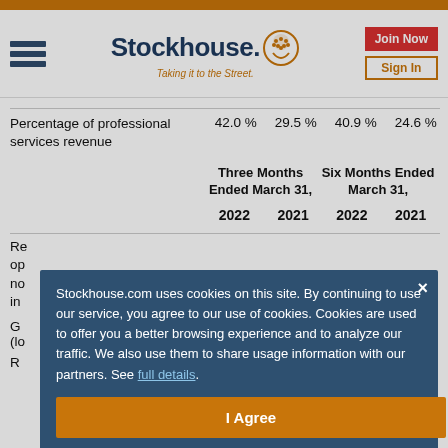Stockhouse. Taking it to the Street.
|  | Three Months Ended March 31, 2022 | Three Months Ended March 31, 2021 | Six Months Ended March 31, 2022 | Six Months Ended March 31, 2021 |
| --- | --- | --- | --- | --- |
| Percentage of professional services revenue | 42.0 % | 29.5 % | 40.9 % | 24.6 % |
Reconciliation of net loss from operations to non-GAAP income (loss) from operations including non-GAAP income (loss) from operations
Gain (loss) from operations as reported
Stockhouse.com uses cookies on this site. By continuing to use our service, you agree to our use of cookies. Cookies are used to offer you a better browsing experience and to analyze our traffic. We also use them to share usage information with our partners. See full details.